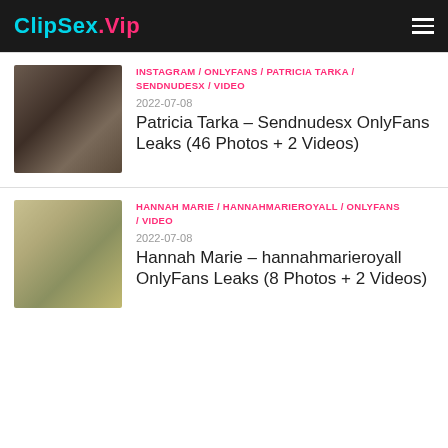ClipSex.Vip
[Figure (photo): Thumbnail image for Patricia Tarka listing]
INSTAGRAM / ONLYFANS / PATRICIA TARKA / SENDNUDESX / VIDEO
2022-07-08
Patricia Tarka – Sendnudesx OnlyFans Leaks (46 Photos + 2 Videos)
[Figure (photo): Thumbnail image for Hannah Marie listing]
HANNAH MARIE / HANNAHMARIEROYALL / ONLYFANS / VIDEO
2022-07-08
Hannah Marie – hannahmarieroyall OnlyFans Leaks (8 Photos + 2 Videos)